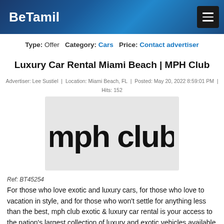BeTamil
Type: Offer  Category: Cars  Price: Contact advertiser
Luxury Car Rental Miami Beach | MPH Club
Advertiser: Lee Sustiel  |  Location: Miami Beach, FL  |  Posted: May 20, 2022 8:59:01 PM  |  Hits: 152
[Figure (logo): mph club logo in bold dark text on light gray background]
Ref: BT45254
For those who love exotic and luxury cars, for those who love to vacation in style, and for those who won't settle for anything less than the best, mph club exotic & luxury car rental is your access to the nation's largest collection of luxury and exotic vehicles available for